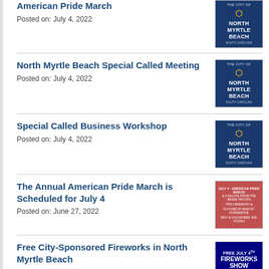American Pride March
Posted on: July 4, 2022
North Myrtle Beach Special Called Meeting
Posted on: July 4, 2022
Special Called Business Workshop
Posted on: July 4, 2022
The Annual American Pride March is Scheduled for July 4
Posted on: June 27, 2022
Free City-Sponsored Fireworks in North Myrtle Beach
Posted on: June 27, 2022
Clarifications Regarding Section 5-24